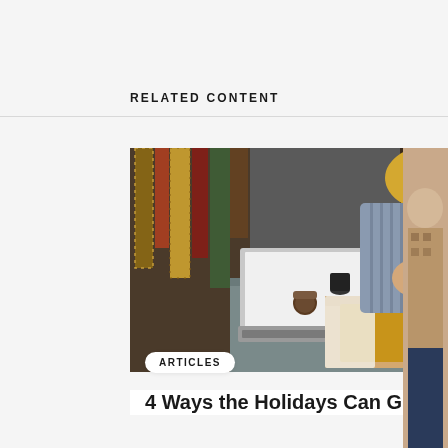RELATED CONTENT
[Figure (photo): Woman in striped shirt packing a mustard-yellow garment into a cardboard box on a desk with a laptop; storefront setting]
ARTICLES
4 Ways the Holidays Can Grow